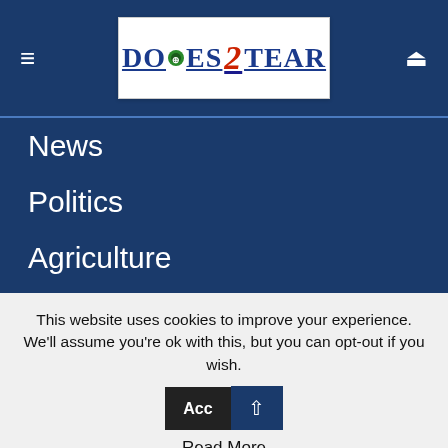Does2Tear navigation header with logo
News
Politics
Agriculture
Aviation
Banking
Women
Housing
Insurance
This website uses cookies to improve your experience. We'll assume you're ok with this, but you can opt-out if you wish. Accept Read More